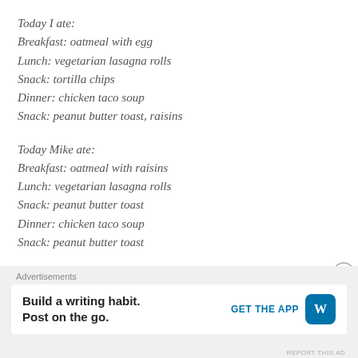Today I ate:
Breakfast: oatmeal with egg
Lunch: vegetarian lasagna rolls
Snack: tortilla chips
Dinner: chicken taco soup
Snack: peanut butter toast, raisins
Today Mike ate:
Breakfast: oatmeal with raisins
Lunch: vegetarian lasagna rolls
Snack: peanut butter toast
Dinner: chicken taco soup
Snack: peanut butter toast
The recipe I'm sharing with you today is for spinach tofu lasagna rolls. Yes, tofu. Keep reading. Mike had the lasagna
Advertisements
Build a writing habit. Post on the go.
GET THE APP